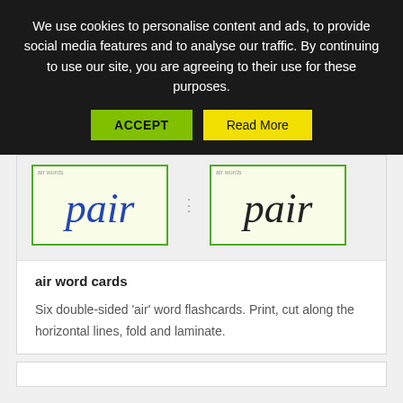We use cookies to personalise content and ads, to provide social media features and to analyse our traffic. By continuing to use our site, you are agreeing to their use for these purposes.
[Figure (screenshot): Two flashcards showing the word 'pair' — one in blue italic handwriting font, one in black italic handwriting font, both with green borders on a light background.]
air word cards
Six double-sided 'air' word flashcards. Print, cut along the horizontal lines, fold and laminate.